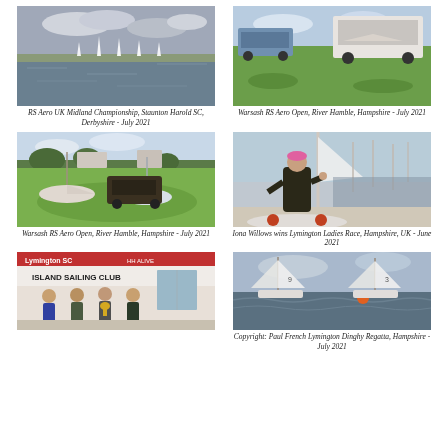[Figure (photo): RS Aero sailboats racing on a large lake under cloudy sky, Staunton Harold SC]
RS Aero UK Midland Championship, Staunton Harold SC, Derbyshire - July 2021
[Figure (photo): Boat trailers and vehicles parked on green grass at Warsash, River Hamble]
Warsash RS Aero Open, River Hamble, Hampshire - July 2021
[Figure (photo): Boats and support vehicles on grass at Warsash, River Hamble sailing event]
Warsash RS Aero Open, River Hamble, Hampshire - July 2021
[Figure (photo): Iona Willows standing next to her RS Aero dinghy at Lymington, with other boats and sailors behind]
Iona Willows wins Lymington Ladies Race, Hampshire, UK - June 2021
[Figure (photo): Four people posing in front of Island Sailing Club sign, one holding a trophy]
[Figure (photo): Two RS Aero dinghies racing in choppy water with orange buoy visible]
Copyright: Paul French Lymington Dinghy Regatta, Hampshire - July 2021